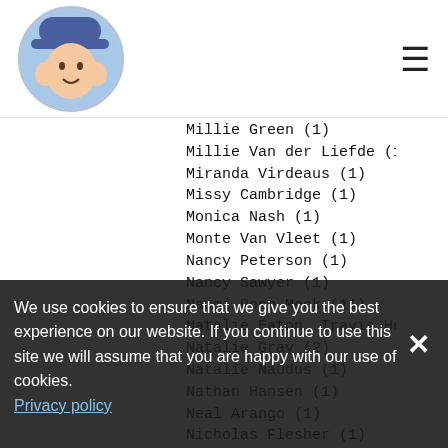Website header with logo and hamburger menu
Millie Green  (1)
Millie Van der Liefde  (1)
Miranda Virdeaus  (1)
Missy Cambridge  (1)
Monica Nash  (1)
Monte Van Vleet  (1)
Nancy Peterson  (1)
Nancy Sawyer   (1)
Naomi Rose-Mock  (11)
Natalie Eaton, Travis Henry Carter  (1)
Natalie Gray  (2)
Natalie Naudus  (1)
Nathan Hansen  (1)
Neal Arango  (1)
Nicholas Flesher  (1)
Nicholas Santasier  (1)
Nick Gallagher  (1)
Nick Plast  (1)
Nicole Dowsing  (1)
Nicole Parnell  (1)
Nicolocutor  (1)
Nicol...  (1)
We use cookies to ensure that we give you the best experience on our website. If you continue to use this site we will assume that you are happy with our use of cookies. Privacy policy